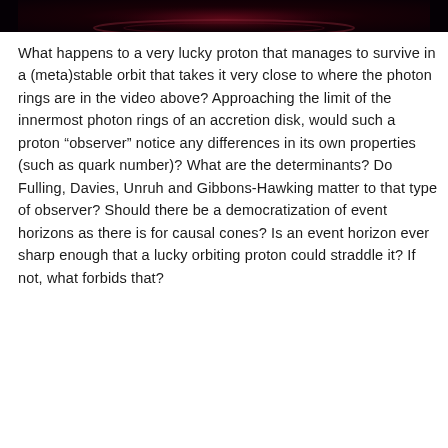[Figure (photo): A dark image showing a black hole accretion disk with photon rings, deep red and black tones, partial view at the top of the page.]
What happens to a very lucky proton that manages to survive in a (meta)stable orbit that takes it very close to where the photon rings are in the video above? Approaching the limit of the innermost photon rings of an accretion disk, would such a proton “observer” notice any differences in its own properties (such as quark number)? What are the determinants? Do Fulling, Davies, Unruh and Gibbons-Hawking matter to that type of observer? Should there be a democratization of event horizons as there is for causal cones? Is an event horizon ever sharp enough that a lucky orbiting proton could straddle it? If not, what forbids that?